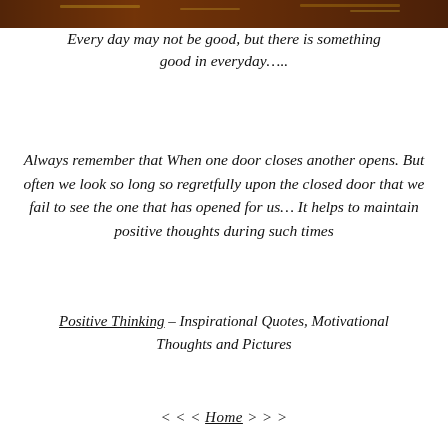[Figure (photo): Dark atmospheric background image, appears to show a dimly lit scene with reddish/orange tones and some text overlay.]
Every day may not be good, but there is something good in everyday.....
Always remember that When one door closes another opens. But often we look so long so regretfully upon the closed door that we fail to see the one that has opened for us... It helps to maintain positive thoughts during such times
Positive Thinking – Inspirational Quotes, Motivational Thoughts and Pictures
< < < Home > > >